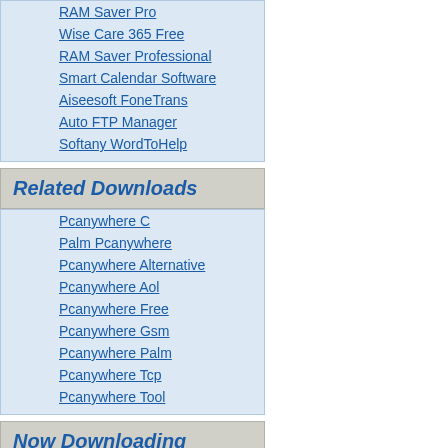RAM Saver Pro
Wise Care 365 Free
RAM Saver Professional
Smart Calendar Software
Aiseesoft FoneTrans
Auto FTP Manager
Softany WordToHelp
Related Downloads
Pcanywhere C
Palm Pcanywhere
Pcanywhere Alternative
Pcanywhere Aol
Pcanywhere Free
Pcanywhere Gsm
Pcanywhere Palm
Pcanywhere Tcp
Pcanywhere Tool
Now Downloading
Tweativity
LCARS AudioPlayer
Pergola Designs Guid article Submitter
SPACE GASS
LabCreator
1X-AMP